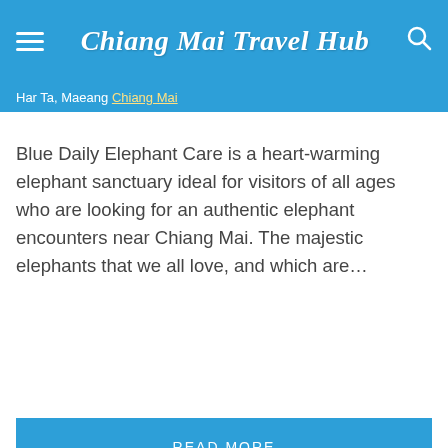Chiang Mai Travel Hub
Har Ta, Maeang Chiang Mai
Blue Daily Elephant Care is a heart-warming elephant sanctuary ideal for visitors of all ages who are looking for an authentic elephant encounters near Chiang Mai. The majestic elephants that we all love, and which are...
READ MORE
[Figure (screenshot): Advertisement banner with yellow background showing 'FREE DELIVERY' text in dark brown, a bowl of food image on the right. Below: Lidl Groceries Are Low-Priced / Lidl ad with logo and navigation icon.]